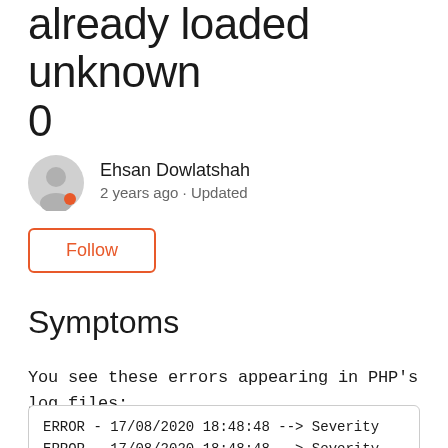already loaded unknown
0
Ehsan Dowlatshah
2 years ago · Updated
Follow
Symptoms
You see these errors appearing in PHP's log files:
ERROR - 17/08/2020 18:48:48 --> Severity
ERROR - 17/08/2020 18:48:48 --> Severity